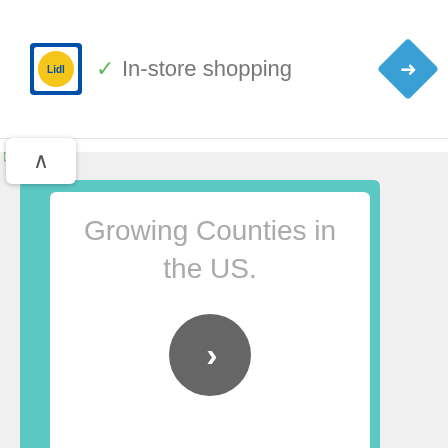[Figure (screenshot): Lidl store ad banner with logo, checkmark, 'In-store shopping' text, and blue diamond navigation icon]
[Figure (screenshot): Content card showing 'Growing Counties in the US.' text with a teal background and dark circle chevron button]
JOBS BY CATEGORY
[Figure (screenshot): Jobs by category list popup showing Production, R&D Jobs, F&D Jobs, Sales & partially visible, with close X button]
[Figure (screenshot): Second Lidl ad banner at bottom with logo, checkmark, 'In-store shopping' text, and blue diamond navigation icon]